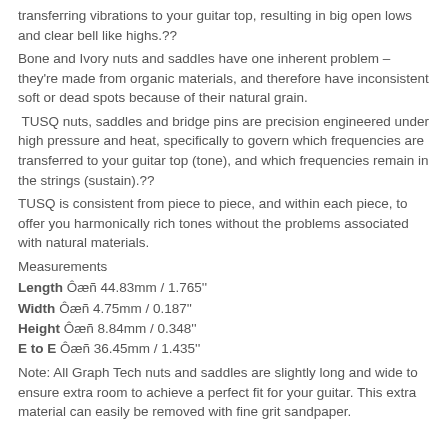transferring vibrations to your guitar top, resulting in big open lows and clear bell like highs.??
Bone and Ivory nuts and saddles have one inherent problem – they're made from organic materials, and therefore have inconsistent soft or dead spots because of their natural grain.
TUSQ nuts, saddles and bridge pins are precision engineered under high pressure and heat, specifically to govern which frequencies are transferred to your guitar top (tone), and which frequencies remain in the strings (sustain).??
TUSQ is consistent from piece to piece, and within each piece, to offer you harmonically rich tones without the problems associated with natural materials.
Measurements
Length Ôæñ 44.83mm / 1.765''
Width Ôæñ 4.75mm / 0.187''
Height Ôæñ 8.84mm / 0.348''
E to E Ôæñ 36.45mm / 1.435''
Note: All Graph Tech nuts and saddles are slightly long and wide to ensure extra room to achieve a perfect fit for your guitar. This extra material can easily be removed with fine grit sandpaper.